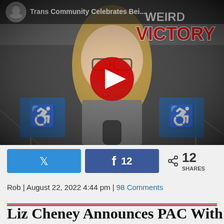[Figure (screenshot): YouTube video thumbnail showing a blonde person standing in a parking lot. Text overlay reads 'Trans Community Celebrates Bein...' at top and 'WEIRD VICTORY' in large red and white text at top right. A red YouTube play button is centered on the image.]
[Figure (infographic): Social sharing bar with Twitter button (blue bird icon), Facebook button (blue with 'f' icon and '12' count), and a share icon with '12 SHARES' text.]
Rob | August 22, 2022 4:44 pm | 98 Comments
Liz Cheney Announces PAC With